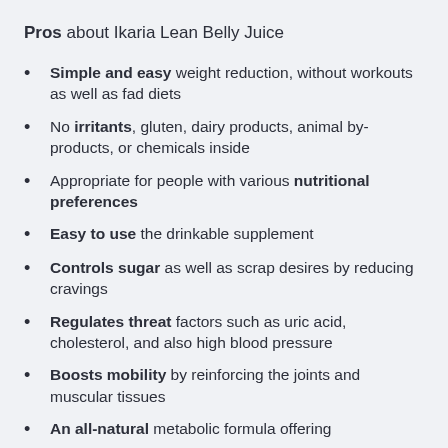Pros about Ikaria Lean Belly Juice
Simple and easy weight reduction, without workouts as well as fad diets
No irritants, gluten, dairy products, animal by-products, or chemicals inside
Appropriate for people with various nutritional preferences
Easy to use the drinkable supplement
Controls sugar as well as scrap desires by reducing cravings
Regulates threat factors such as uric acid, cholesterol, and also high blood pressure
Boosts mobility by reinforcing the joints and muscular tissues
An all-natural metabolic formula offering